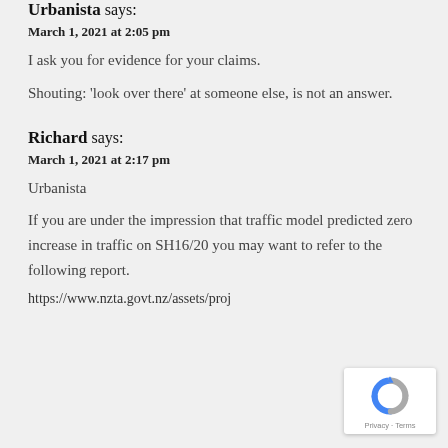Urbanista says:
March 1, 2021 at 2:05 pm
I ask you for evidence for your claims.
Shouting: 'look over there' at someone else, is not an answer.
Richard says:
March 1, 2021 at 2:17 pm
Urbanista
If you are under the impression that traffic model predicted zero increase in traffic on SH16/20 you may want to refer to the following report.
https://www.nzta.govt.nz/assets/proj